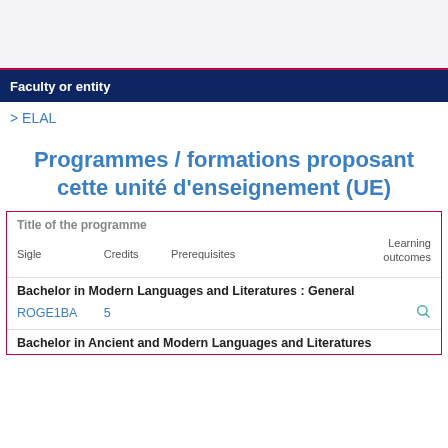Faculty or entity
> ELAL
Programmes / formations proposant cette unité d'enseignement (UE)
| Title of the programme | Sigle | Credits | Prerequisites | Learning outcomes |
| --- | --- | --- | --- | --- |
| Bachelor in Modern Languages and Literatures : General | ROGE1BA | 5 |  | 🔍 |
| Bachelor in Ancient and Modern Languages and Literatures |  |  |  |  |